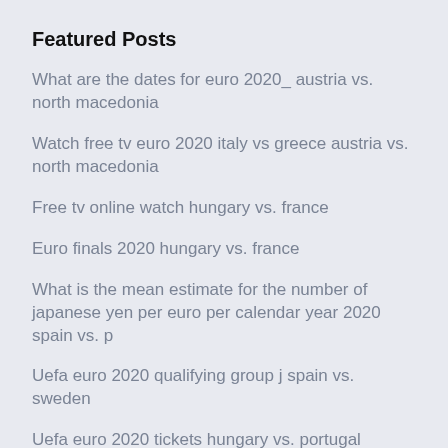Featured Posts
What are the dates for euro 2020_ austria vs. north macedonia
Watch free tv euro 2020 italy vs greece austria vs. north macedonia
Free tv online watch hungary vs. france
Euro finals 2020 hungary vs. france
What is the mean estimate for the number of japanese yen per euro per calendar year 2020 spain vs. p
Uefa euro 2020 qualifying group j spain vs. sweden
Uefa euro 2020 tickets hungary vs. portugal
Euro 2020 qufliers ukraine vs. austria